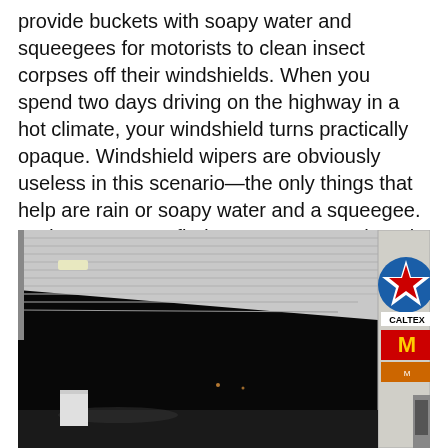provide buckets with soapy water and squeegees for motorists to clean insect corpses off their windshields. When you spend two days driving on the highway in a hot climate, your windshield turns practically opaque. Windshield wipers are obviously useless in this scenario—the only things that help are rain or soapy water and a squeegee. And yet you can't find squeegees anywhere in Russia, although there are literally kilograms worth of insects on the roads in the summer.
[Figure (photo): Night-time photo of a Caltex petrol/gas station with a large canopy roof lit from below, dark sky, McDonald's signage visible on the right side of a tall sign column, fire extinguisher visible at bottom right.]